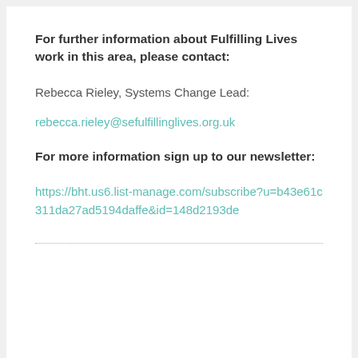For further information about Fulfilling Lives work in this area, please contact:
Rebecca Rieley, Systems Change Lead:
rebecca.rieley@sefulfillinglives.org.uk
For more information sign up to our newsletter:
https://bht.us6.list-manage.com/subscribe?u=b43e61c311da27ad5194daffe&id=148d2193de